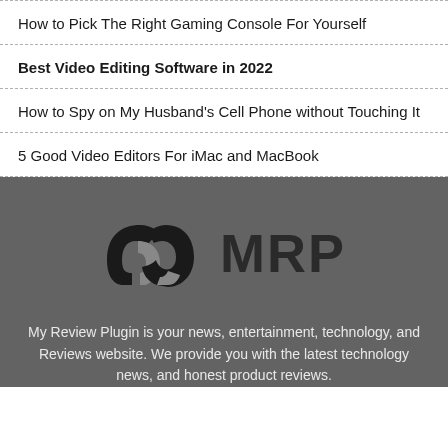How to Pick The Right Gaming Console For Yourself
Best Video Editing Software in 2022
How to Spy on My Husband's Cell Phone without Touching It
5 Good Video Editors For iMac and MacBook
[Figure (logo): MRP logo with stylized letter M icon in black and grey, followed by bold text MRP]
My Review Plugin is your news, entertainment, technology, and Reviews website. We provide you with the latest technology news, and honest product reviews.